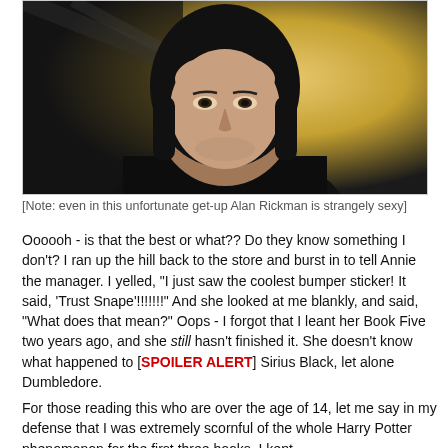[Figure (photo): Close-up portrait photo of Alan Rickman as Severus Snape from Harry Potter, wearing dark robes with pale face and black shoulder-length hair, against a golden blurred background.]
[Note: even in this unfortunate get-up Alan Rickman is strangely sexy]
Oooooh - is that the best or what?? Do they know something I don't? I ran up the hill back to the store and burst in to tell Annie the manager. I yelled, "I just saw the coolest bumper sticker! It said, 'Trust Snape'!!!!!!!" And she looked at me blankly, and said, "What does that mean?" Oops - I forgot that I leant her Book Five two years ago, and she still hasn't finished it. She doesn't know what happened to [SPOILER ALERT] Sirius Black, let alone Dumbledore.
For those reading this who are over the age of 14, let me say in my defense that I was extremely scornful of the whole Harry Potter phenomenon for the first three books. I kept